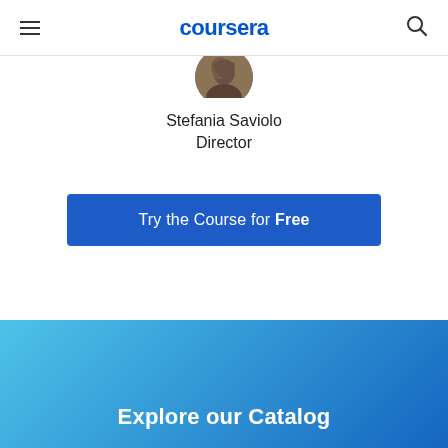coursera
[Figure (photo): Circular profile photo of Stefania Saviolo, partially cropped at top]
Stefania Saviolo
Director
Try the Course for Free
Explore our Catalog